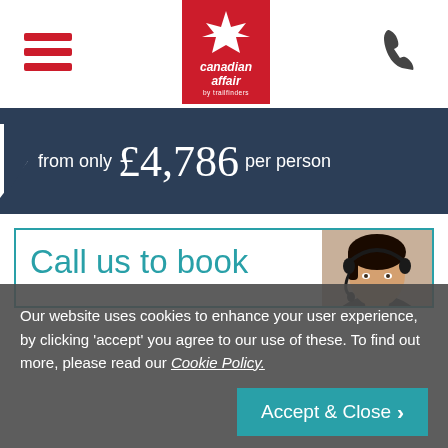Canadian Affair by Trailfinders — navigation header with hamburger menu, logo, and phone icon
from only £4,786 per person
[Figure (screenshot): Call us to book panel with agent photo and teal border]
Our website uses cookies to enhance your user experience, by clicking 'accept' you agree to our use of these. To find out more, please read our Cookie Policy.
Accept & Close >